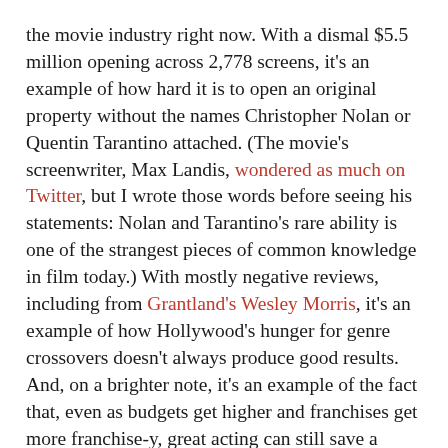the movie industry right now. With a dismal $5.5 million opening across 2,778 screens, it's an example of how hard it is to open an original property without the names Christopher Nolan or Quentin Tarantino attached. (The movie's screenwriter, Max Landis, wondered as much on Twitter, but I wrote those words before seeing his statements: Nolan and Tarantino's rare ability is one of the strangest pieces of common knowledge in film today.) With mostly negative reviews, including from Grantland's Wesley Morris, it's an example of how Hollywood's hunger for genre crossovers doesn't always produce good results. And, on a brighter note, it's an example of the fact that, even as budgets get higher and franchises get more franchise-y, great acting can still save a movie.
In American Ultra, Jesse Eisenberg plays a pot-smoking deadbeat who's secretly a CIA killing machine. Kristen